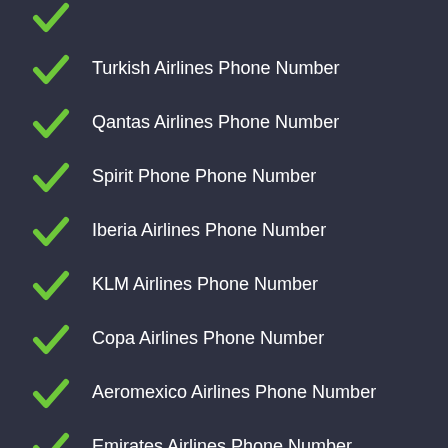Turkish Airlines Phone Number
Qantas Airlines Phone Number
Spirit Phone Phone Number
Iberia Airlines Phone Number
KLM Airlines Phone Number
Copa Airlines Phone Number
Aeromexico Airlines Phone Number
Emirates Airlines Phone Number